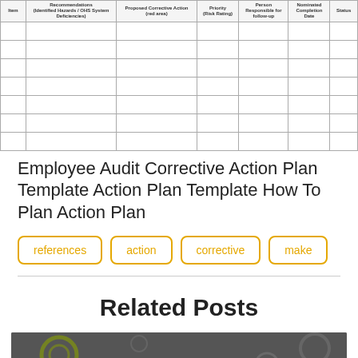| Item | Recommendations (Identified Hazards / OHS System Deficiencies) | Proposed Corrective Action (red area) | Priority (Risk Rating) | Person Responsible for follow-up | Nominated Completion Date | Status |
| --- | --- | --- | --- | --- | --- | --- |
|  |  |  |  |  |  |  |
|  |  |  |  |  |  |  |
|  |  |  |  |  |  |  |
|  |  |  |  |  |  |  |
|  |  |  |  |  |  |  |
|  |  |  |  |  |  |  |
|  |  |  |  |  |  |  |
Employee Audit Corrective Action Plan Template Action Plan Template How To Plan Action Plan
references
action
corrective
make
Related Posts
[Figure (photo): Partial view of a 'How to clean' article thumbnail image with dark background showing circular shapes]